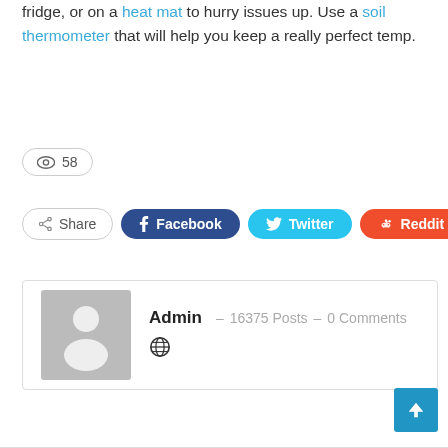fridge, or on a heat mat to hurry issues up. Use a soil thermometer that will help you keep a really perfect temp.
👁 58
Share   Facebook   Twitter   Reddit   +
Admin  –  16375 Posts  –  0 Comments
[Figure (other): Scroll to top button (blue arrow up)]